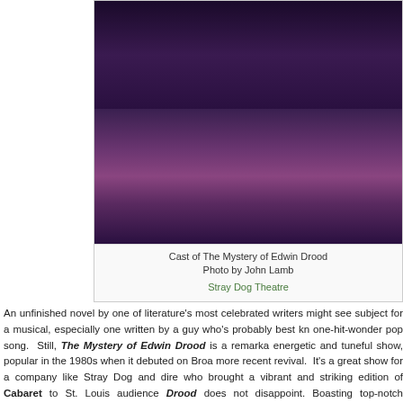[Figure (photo): Cast photo of The Mystery of Edwin Drood - a large ensemble of performers on stage in period costumes, arms raised, on a theatrical set with stairs and architectural elements]
Cast of The Mystery of Edwin Drood
Photo by John Lamb
Stray Dog Theatre
An unfinished novel by one of literature's most celebrated writers might see subject for a musical, especially one written by a guy who's probably best kn one-hit-wonder pop song. Still, The Mystery of Edwin Drood is a remarka energetic and tuneful show, popular in the 1980s when it debuted on Broa more recent revival. It's a great show for a company like Stray Dog and dire who brought a vibrant and striking edition of Cabaret to St. Louis audience Drood does not disappoint. Boasting top-notch technical elements and an cast, this musical's appeal is definitely no mystery.